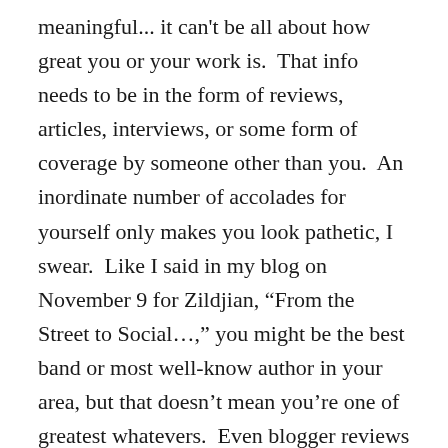meaningful... it can't be all about how great you or your work is.  That info needs to be in the form of reviews, articles, interviews, or some form of coverage by someone other than you.  An inordinate number of accolades for yourself only makes you look pathetic, I swear.  Like I said in my blog on November 9 for Zildjian, “From the Street to Social…,” you might be the best band or most well-know author in your area, but that doesn't mean you’re one of greatest whatevers.  Even blogger reviews merit inclusion in your press kit until you get local, regional, national, and hopefully international attention. (Now I don’t mean blogs like this, published for a national audience by an established business and PR specialist because I have the credibility of over 30 years experience… my website has the ear of experts in their respective